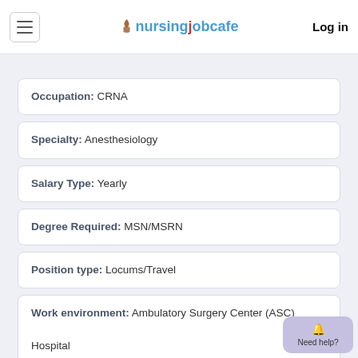nursingjobcafe  Log in
Occupation: CRNA
Specialty: Anesthesiology
Salary Type: Yearly
Degree Required: MSN/MSRN
Position type: Locums/Travel
Work environment: Ambulatory Surgery Center (ASC)
Hospital